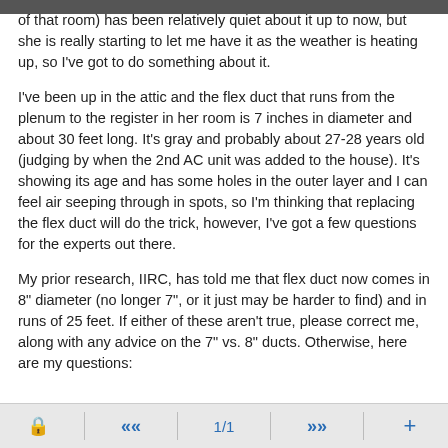of that room) has been relatively quiet about it up to now, but she is really starting to let me have it as the weather is heating up, so I've got to do something about it.
I've been up in the attic and the flex duct that runs from the plenum to the register in her room is 7 inches in diameter and about 30 feet long. It's gray and probably about 27-28 years old (judging by when the 2nd AC unit was added to the house). It's showing its age and has some holes in the outer layer and I can feel air seeping through in spots, so I'm thinking that replacing the flex duct will do the trick, however, I've got a few questions for the experts out there.
My prior research, IIRC, has told me that flex duct now comes in 8" diameter (no longer 7", or it just may be harder to find) and in runs of 25 feet. If either of these aren't true, please correct me, along with any advice on the 7" vs. 8" ducts. Otherwise, here are my questions:
1/1